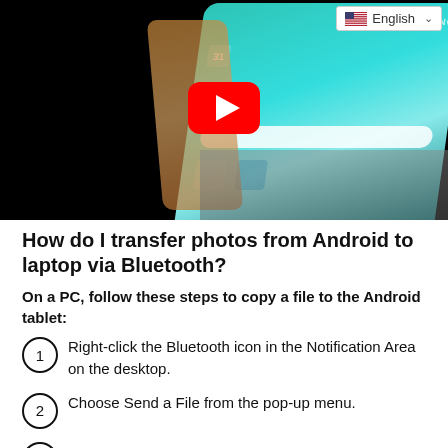[Figure (screenshot): YouTube video thumbnail showing a Samsung Android phone on a keyboard, with a red YouTube play button overlay. An English language selector dropdown appears in the top-right corner with a US flag icon.]
How do I transfer photos from Android to laptop via Bluetooth?
On a PC, follow these steps to copy a file to the Android tablet:
Right-click the Bluetooth icon in the Notification Area on the desktop.
Choose Send a File from the pop-up menu.
(partially visible, cut off at bottom)